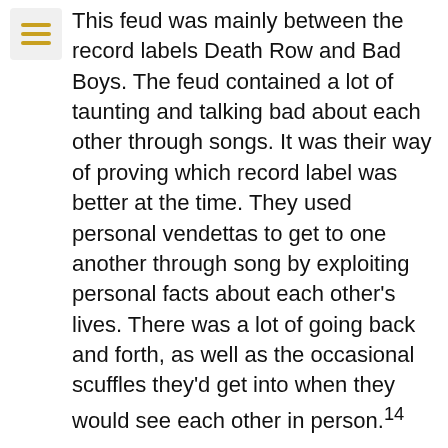This feud was mainly between the record labels Death Row and Bad Boys. The feud contained a lot of taunting and talking bad about each other through songs. It was their way of proving which record label was better at the time. They used personal vendettas to get to one another through song by exploiting personal facts about each other's lives. There was a lot of going back and forth, as well as the occasional scuffles they'd get into when they would see each other in person.14
After signing with Death Row Records, Tupac released his first double album, All Eyes on Me, in 1996. It didn't take long for the album to go platinum. This album came with another big hit song, "California Love." Another hit from the album was "How Do You Want It," which also reached number one in pop and R&B charts.